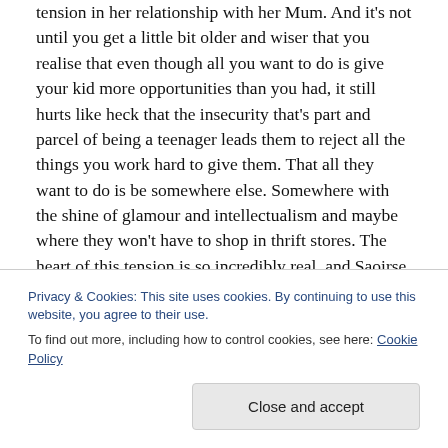tension in her relationship with her Mum. And it's not until you get a little bit older and wiser that you realise that even though all you want to do is give your kid more opportunities than you had, it still hurts like heck that the insecurity that's part and parcel of being a teenager leads them to reject all the things you work hard to give them. That all they want to do is be somewhere else. Somewhere with the shine of glamour and intellectualism and maybe where they won't have to shop in thrift stores. The heart of this tension is so incredibly real, and Saoirse Ronan and Laurie Metcalfe bring so much to it that it made me want to call up my Mum.
Privacy & Cookies: This site uses cookies. By continuing to use this website, you agree to their use.
To find out more, including how to control cookies, see here: Cookie Policy
Close and accept